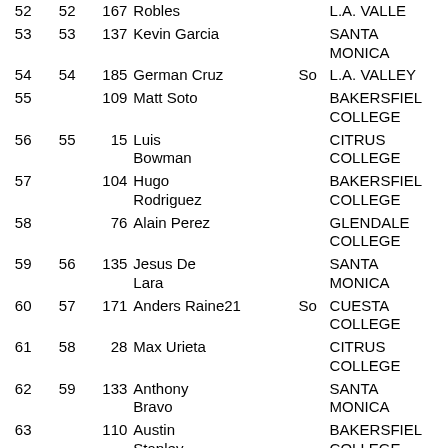| # | # | # | Name |  | Yr | School |
| --- | --- | --- | --- | --- | --- | --- |
| 52 | 52 | 167 | Robles |  |  | L.A. VALLEY |
| 53 | 53 | 137 | Kevin Garcia |  |  | SANTA MONICA |
| 54 | 54 | 185 | German Cruz |  | So | L.A. VALLEY |
| 55 |  | 109 | Matt Soto |  |  | BAKERSFIELD COLLEGE |
| 56 | 55 | 15 | Luis Bowman |  |  | CITRUS COLLEGE |
| 57 |  | 104 | Hugo Rodriguez |  |  | BAKERSFIELD COLLEGE |
| 58 |  | 76 | Alain Perez |  |  | GLENDALE COLLEGE |
| 59 | 56 | 135 | Jesus De Lara |  |  | SANTA MONICA |
| 60 | 57 | 171 | Anders Raine21 |  | So | CUESTA COLLEGE |
| 61 | 58 | 28 | Max Urieta |  |  | CITRUS COLLEGE |
| 62 | 59 | 133 | Anthony Bravo |  |  | SANTA MONICA |
| 63 |  | 110 | Austin Stapley |  |  | BAKERSFIELD COLLEGE |
| 64 |  | 168 | Brecon Welton | 19 | Fr | CUESTA COLLEGE |
| 65 | 60 | 156 | David Trejo |  |  | VENTURA |